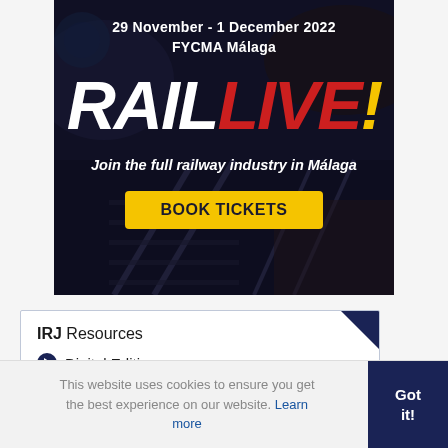[Figure (infographic): Rail Live! event advertisement banner. Text: '29 November - 1 December 2022 / FYCMA Málaga / RAIL LIVE! / Join the full railway industry in Málaga / BOOK TICKETS button'. Background: dark overlay on train/railway image.]
IRJ Resources
• Digital Edition
• Advertising
This website uses cookies to ensure you get the best experience on our website. Learn more